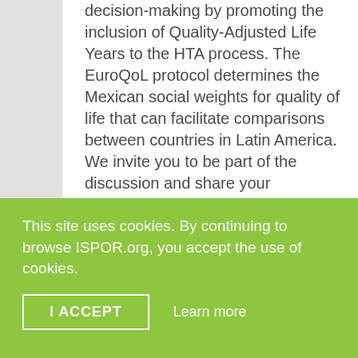decision-making by promoting the inclusion of Quality-Adjusted Life Years to the HTA process. The EuroQoL protocol determines the Mexican social weights for quality of life that can facilitate comparisons between countries in Latin America.

We invite you to be part of the discussion and share your perspectives on this topic during this networking session with our expert panel representing various sectors such as the Academy, the
This site uses cookies. By continuing to browse ISPOR.org, you accept the use of cookies.